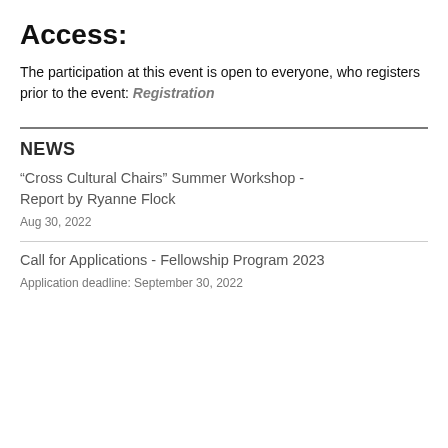Access:
The participation at this event is open to everyone, who registers prior to the event: Registration
NEWS
“Cross Cultural Chairs” Summer Workshop - Report by Ryanne Flock
Aug 30, 2022
Call for Applications - Fellowship Program 2023
Application deadline: September 30, 2022